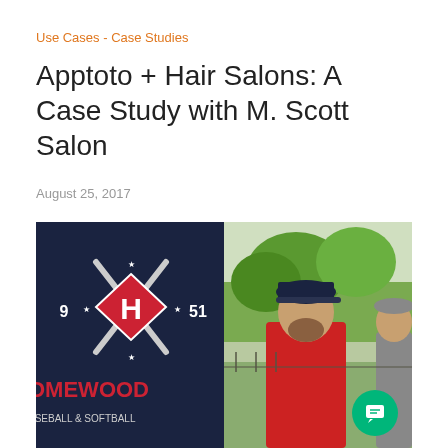Use Cases - Case Studies
Apptoto + Hair Salons: A Case Study with M. Scott Salon
August 25, 2017
[Figure (photo): Split image: left side shows a dark navy background with a Homewood Baseball & Softball logo featuring crossed baseball bats and a letter H shield with stars, numbers 9 and 51; right side shows a man in a red shirt wearing a dark baseball cap outdoors near trees.]